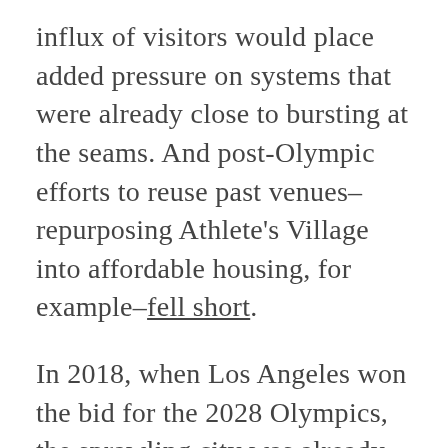influx of visitors would place added pressure on systems that were already close to bursting at the seams. And post-Olympic efforts to reuse past venues–repurposing Athlete's Village into affordable housing, for example–fell short.
In 2018, when Los Angeles won the bid for the 2028 Olympics, the sprawling city was already in the early stages of implementing a 20-year urban plan to revamp its transit network. Originally snarled by litigation and legislation, the plan promised greater connectivity and access through an updated transportation network, along with a more sustainable system to replace aging water infrastructure. Yet citizens still worry that development would favor the short-term needs of the Games over